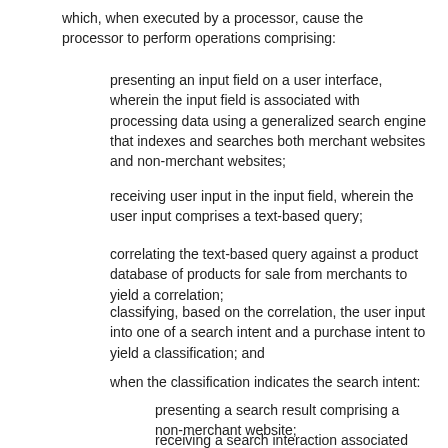which, when executed by a processor, cause the processor to perform operations comprising:
presenting an input field on a user interface, wherein the input field is associated with processing data using a generalized search engine that indexes and searches both merchant websites and non-merchant websites;
receiving user input in the input field, wherein the user input comprises a text-based query;
correlating the text-based query against a product database of products for sale from merchants to yield a correlation;
classifying, based on the correlation, the user input into one of a search intent and a purchase intent to yield a classification; and
when the classification indicates the search intent:
presenting a search result comprising a non-merchant website;
receiving a search interaction associated with the non-merchant website;